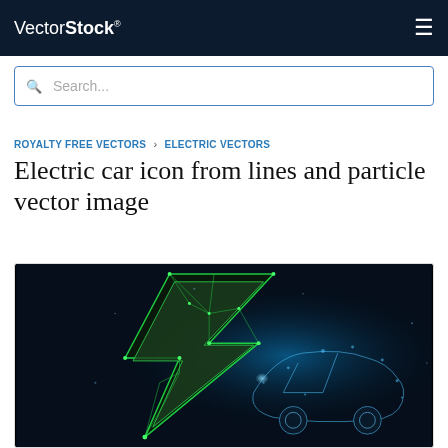VectorStock® ☰
Search...
ROYALTY FREE VECTORS › ELECTRIC VECTORS
Electric car icon from lines and particle vector image
[Figure (illustration): Dark blue background with a green geometric polygon lightning bolt / electric car symbol made of lines and particles, with a glowing blue particle car shape overlapping on the right side]